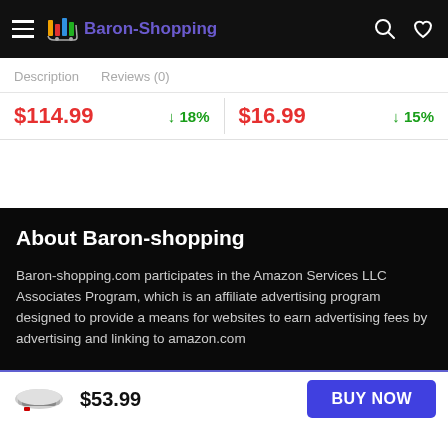Baron-Shopping
Description   Reviews (0)
$114.99  ↓18%   $16.99  ↓15%
About Baron-shopping
Baron-shopping.com participates in the Amazon Services LLC Associates Program, which is an affiliate advertising program designed to provide a means for websites to earn advertising fees by advertising and linking to amazon.com
$53.99  BUY NOW